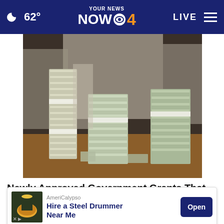62° YOUR NEWS NOW 4  LIVE
[Figure (photo): Stacks of bundled cash/currency bills piled high on a table, with people in white coats in the background]
Newly Approved Government Grants That You Don't Have to Pay Back
Free Money Grants | Sponsored
[Figure (other): Advertisement banner: AmeriCalypso - Hire a Steel Drummer Near Me - Open button]